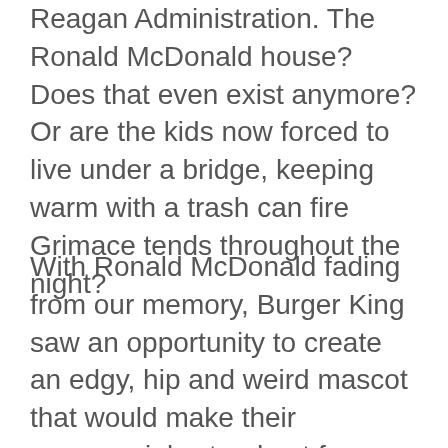Reagan Administration. The Ronald McDonald house? Does that even exist anymore? Or are the kids now forced to live under a bridge, keeping warm with a trash can fire Grimace tends throughout the night?
With Ronald McDonald fading from our memory, Burger King saw an opportunity to create an edgy, hip and weird mascot that would make their commercials stand out from their competitors. The BK King quickly took off, putting his previous life of date rape and morning-after breakfast habits behind...